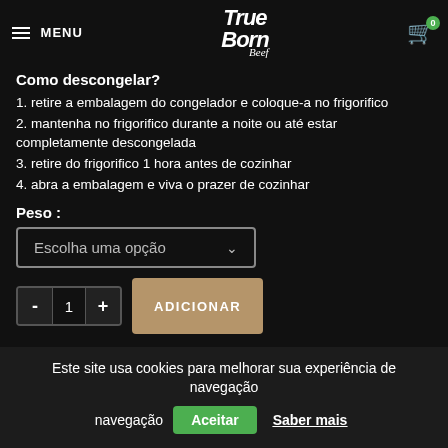MENU | True Born Beef | 0
Como descongelar?
1. retire a embalagem do congelador e coloque-a no frigorifico
2. mantenha no frigorifico durante a noite ou até estar completamente descongelada
3. retire do frigorifico 1 hora antes de cozinhar
4. abra a embalagem e viva o prazer de cozinhar
Peso :
Escolha uma opção
- 1 + ADICIONAR
Este site usa cookies para melhorar sua experiência de navegação Aceitar Saber mais